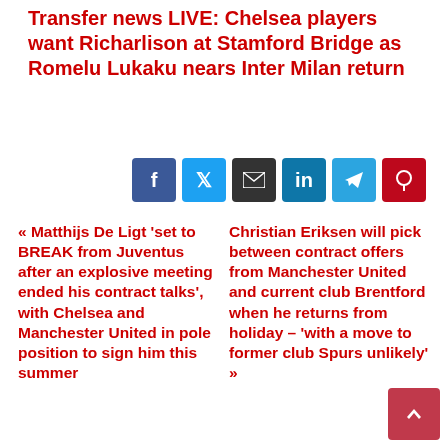Transfer news LIVE: Chelsea players want Richarlison at Stamford Bridge as Romelu Lukaku nears Inter Milan return
[Figure (infographic): Social sharing buttons: Facebook, Twitter, Email, LinkedIn, Telegram, Pinterest]
« Matthijs De Ligt 'set to BREAK from Juventus after an explosive meeting ended his contract talks', with Chelsea and Manchester United in pole position to sign him this summer
Christian Eriksen will pick between contract offers from Manchester United and current club Brentford when he returns from holiday – 'with a move to former club Spurs unlikely' »